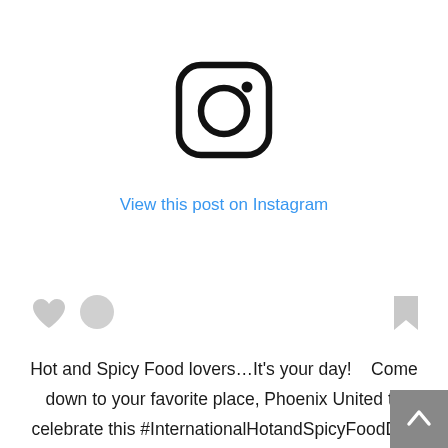[Figure (logo): Instagram logo icon — rounded square outline with a circle inside and a dot in the upper right]
View this post on Instagram
[Figure (illustration): Three small social icons: heart, comment bubble, and bookmark flag — in light gray]
Hot and Spicy Food lovers…It's your day!    Come down to your favorite place, Phoenix United to celebrate this #InternationalHotandSpicyFoodDay and drool over some